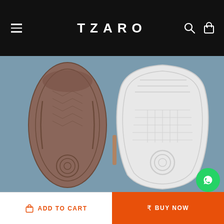TZARO
[Figure (photo): Two shoe soles shown from below: a brown/dark sole on the left with herringbone texture pattern and circular heel design, and a white sole on the right with grid texture and circular heel pattern, photographed against a steel-blue background.]
ADD TO CART
BUY NOW